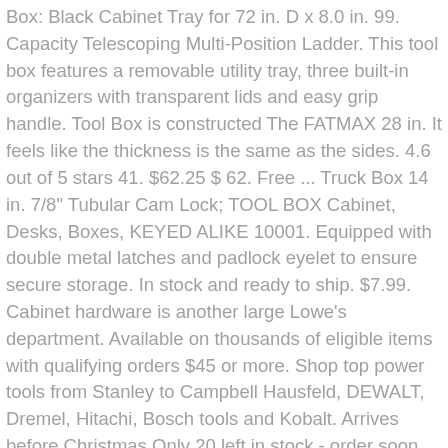Box: Black Cabinet Tray for 72 in. D x 8.0 in. 99. Capacity Telescoping Multi-Position Ladder. This tool box features a removable utility tray, three built-in organizers with transparent lids and easy grip handle. Tool Box is constructed The FATMAX 28 in. It feels like the thickness is the same as the sides. 4.6 out of 5 stars 41. $62.25 $ 62. Free ... Truck Box 14 in. 7/8" Tubular Cam Lock; TOOL BOX Cabinet, Desks, Boxes, KEYED ALIKE 10001. Equipped with double metal latches and padlock eyelet to ensure secure storage. In stock and ready to ship. $7.99. Cabinet hardware is another large Lowe's department. Available on thousands of eligible items with qualifying orders $45 or more. Shop top power tools from Stanley to Campbell Hausfeld, DEWALT, Dremel, Hitachi, Bosch tools and Kobalt. Arrives before Christmas Only 20 left in stock - order soon. 99. Truck tool boxes come in two styles--cross box and chest style. FREE Shipping by Amazon. $217.67. The Toolmaster 19" tool box is designed to get the job done. $49.94. While the box looks very nice, the thickness of the aluminum is thin. By name A-Z. Plus, truck boxes protect your valuable tools and supplies from weather, theft and vandalism. Compare products, read reviews & get the best deals! A paddle handle latch can be ordered in a wide variety of materials, including carbon, stainless, and die-cast materials. Errors will be